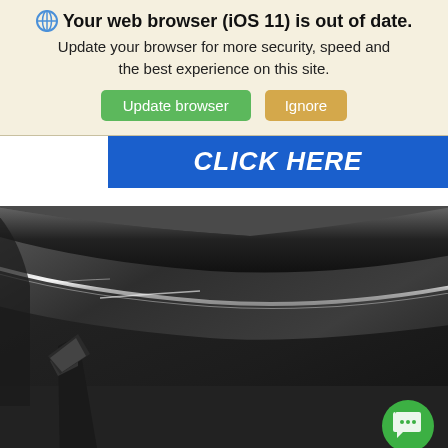🌐 Your web browser (iOS 11) is out of date. Update your browser for more security, speed and the best experience on this site.
Update browser | Ignore
[Figure (screenshot): Blue banner with white italic bold text: CLICK HERE]
[Figure (photo): Close-up photo of a dark car roof with chrome window trim/rain guard, showing the top portion of the car door and window area in dark grey/black tones]
Search   Saved   Share   Contact